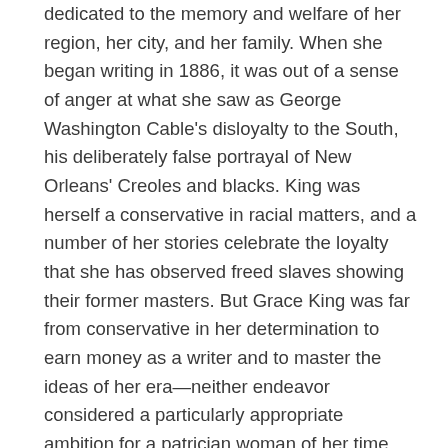dedicated to the memory and welfare of her region, her city, and her family. When she began writing in 1886, it was out of a sense of anger at what she saw as George Washington Cable's disloyalty to the South, his deliberately false portrayal of New Orleans' Creoles and blacks. King was herself a conservative in racial matters, and a number of her stories celebrate the loyalty that she has observed freed slaves showing their former masters. But Grace King was far from conservative in her determination to earn money as a writer and to master the ideas of her era—neither endeavor considered a particularly appropriate ambition for a patrician woman of her time. She was proud to be able to contribute to her family's income, and she developed a sharp eye for the fluctuations in the